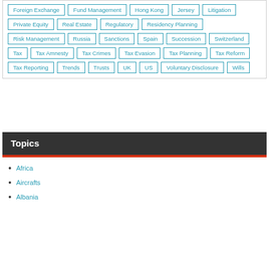Foreign Exchange, Fund Management, Hong Kong, Jersey, Litigation, Private Equity, Real Estate, Regulatory, Residency Planning, Risk Management, Russia, Sanctions, Spain, Succession, Switzerland, Tax, Tax Amnesty, Tax Crimes, Tax Evasion, Tax Planning, Tax Reform, Tax Reporting, Trends, Trusts, UK, US, Voluntary Disclosure, Wills
Topics
Africa
Aircrafts
Albania